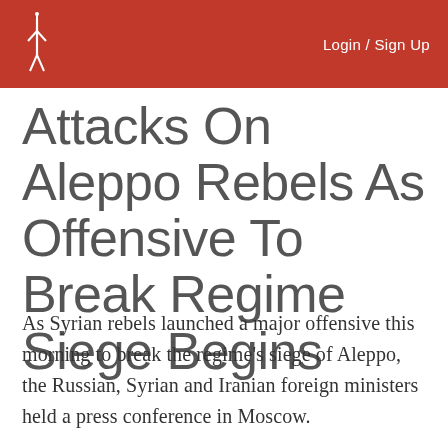Login / Sign Up
Attacks On Aleppo Rebels As Offensive To Break Regime Siege Begins
As Syrian rebels launched a major offensive this morning to break the regime's siege of Aleppo, the Russian, Syrian and Iranian foreign ministers held a press conference in Moscow.